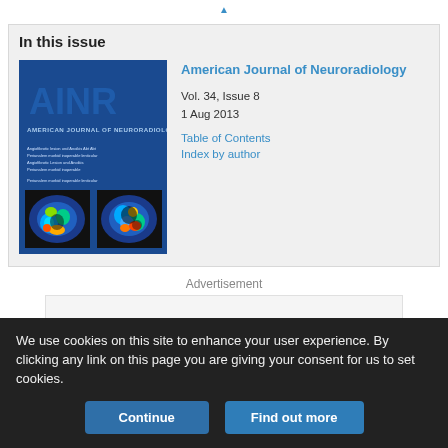In this issue
[Figure (illustration): Cover of American Journal of Neuroradiology Vol. 34 Issue 8, showing AJNR logo and brain imaging scans on blue background]
American Journal of Neuroradiology
Vol. 34, Issue 8
1 Aug 2013
Table of Contents
Index by author
Advertisement
We use cookies on this site to enhance your user experience. By clicking any link on this page you are giving your consent for us to set cookies.